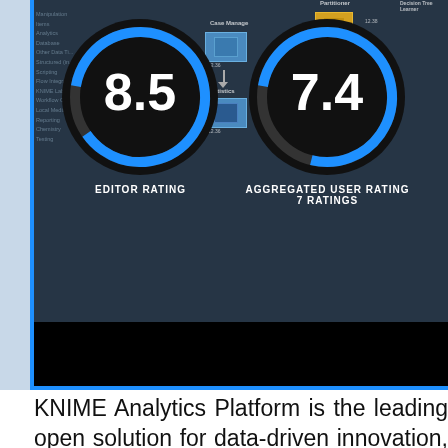[Figure (screenshot): Software interface screenshot showing KNIME Analytics Platform with two gauge/donut charts: Editor Rating 8.5 (left) and Aggregated User Rating 7.4 with 7 Ratings (right), on a dark background with workflow nodes visible behind.]
KNIME Analytics Platform is the leading open solution for data-driven innovation, helping you discover the potential hidden in your data, mine for fresh insights, or predict new futures. With more than 1000